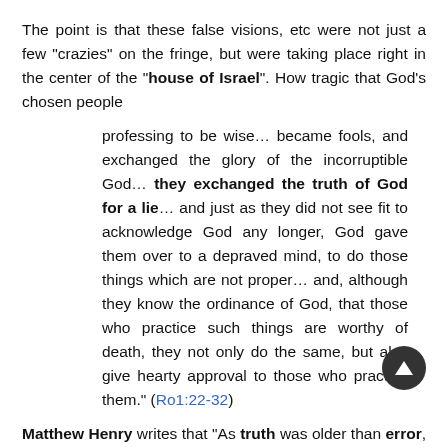The point is that these false visions, etc were not just a few "crazies" on the fringe, but were taking place right in the center of the "house of Israel". How tragic that God's chosen people
professing to be wise… became fools, and exchanged the glory of the incorruptible God… they exchanged the truth of God for a lie… and just as they did not see fit to acknowledge God any longer, God gave them over to a depraved mind, to do those things which are not proper… and, although they know the ordinance of God, that those who practice such things are worthy of death, they not only do the same, but also give hearty approval to those who practice them." (Ro1:22-32)
Matthew Henry writes that "As truth was older than error, so it will survive it; it got the start, and it will get the race… the true prophets' visions and predictions stand, and are in full force, power, and virtue; they give law, and receive credit, when the